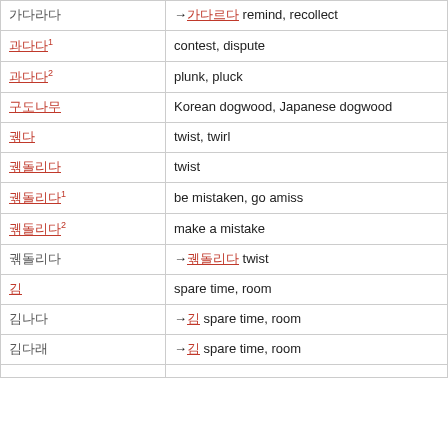| Korean term | Definition |
| --- | --- |
| [Korean] | →[Korean] remind, recollect |
| [Korean]¹ | contest, dispute |
| [Korean]² | plunk, pluck |
| [Korean] | Korean dogwood, Japanese dogwood |
| [Korean] | twist, twirl |
| [Korean] | twist |
| [Korean]¹ | be mistaken, go amiss |
| [Korean]² | make a mistake |
| [Korean] | →[Korean] twist |
| [Korean] | spare time, room |
| [Korean] | →[Korean] spare time, room |
| [Korean] | →[Korean] spare time, room |